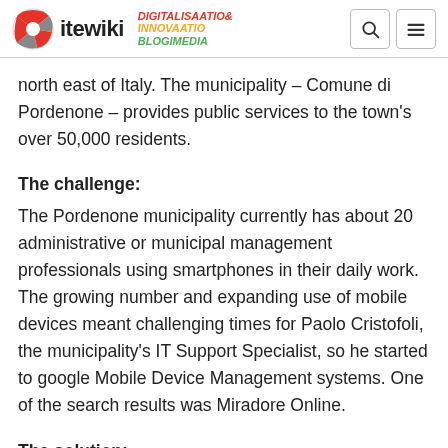ite wiki | DIGITALISAATIO & INNOVAATIO BLOGIMEDIA
north east of Italy. The municipality – Comune di Pordenone – provides public services to the town's over 50,000 residents.
The challenge:
The Pordenone municipality currently has about 20 administrative or municipal management professionals using smartphones in their daily work. The growing number and expanding use of mobile devices meant challenging times for Paolo Cristofoli, the municipality's IT Support Specialist, so he started to google Mobile Device Management systems. One of the search results was Miradore Online.
The solution: